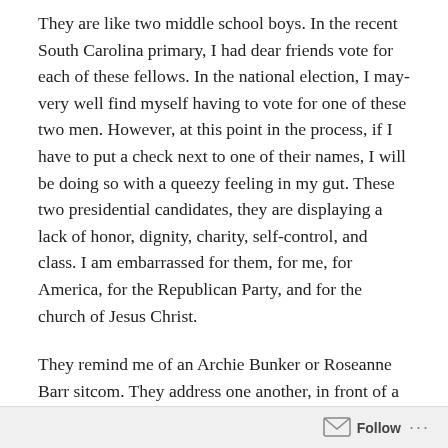They are like two middle school boys. In the recent South Carolina primary, I had dear friends vote for each of these fellows. In the national election, I may very well find myself having to vote for one of these two men. However, at this point in the process, if I have to put a check next to one of their names, I will be doing so with a queezy feeling in my gut. These two presidential candidates, they are displaying a lack of honor, dignity, charity, self-control, and class. I am embarrassed for them, for me, for America, for the Republican Party, and for the church of Jesus Christ.
They remind me of an Archie Bunker or Roseanne Barr sitcom. They address one another, in front of a huge television audience, in a manner I would not tolerate in my children's rooms or in my soccer team's locker room. Then after their emotional outbursts, they galavant all over
Follow